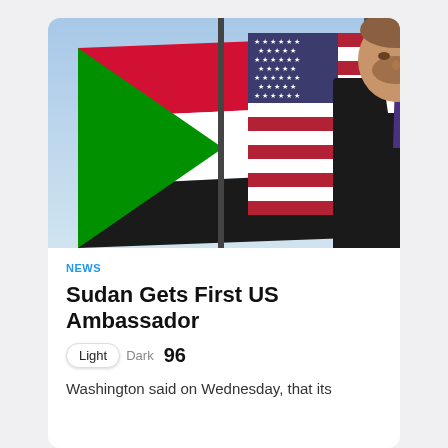[Figure (photo): A composite image showing the Sudanese flag (green, white, and black horizontal stripes with a green triangle) and the American flag waving together, with a man in a dark suit and purple tie in the foreground on the right side.]
NEWS
Sudan Gets First US Ambassador
Light  Dark  96
Washington said on Wednesday, that its